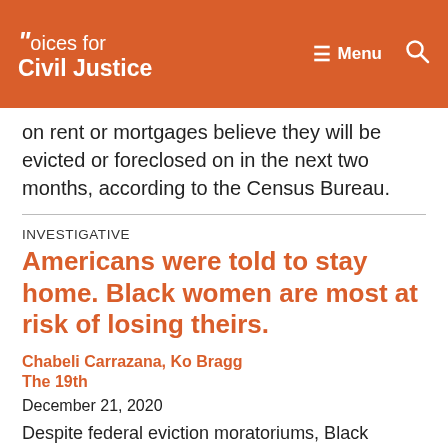Voices for Civil Justice — Menu (hamburger icon) — Search (magnifying glass icon)
on rent or mortgages believe they will be evicted or foreclosed on in the next two months, according to the Census Bureau.
INVESTIGATIVE
Americans were told to stay home. Black women are most at risk of losing theirs.
Chabeli Carrazana, Ko Bragg
The 19th
December 21, 2020
Despite federal eviction moratoriums, Black women are most at risk of losing their